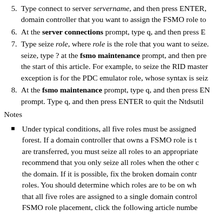5. Type connect to server servername, and then press ENTER, domain controller that you want to assign the FSMO role to
6. At the server connections prompt, type q, and then press ENTER
7. Type seize role, where role is the role that you want to seize. seize, type ? at the fsmo maintenance prompt, and then press the start of this article. For example, to seize the RID master exception is for the PDC emulator role, whose syntax is seize
8. At the fsmo maintenance prompt, type q, and then press ENTER prompt. Type q, and then press ENTER to quit the Ntdsutil
Notes
Under typical conditions, all five roles must be assigned forest. If a domain controller that owns a FSMO role is are transferred, you must seize all roles to an appropriate recommend that you only seize all roles when the other the domain. If it is possible, fix the broken domain contr roles. You should determine which roles are to be on wh that all five roles are assigned to a single domain control FSMO role placement, click the following article numbe